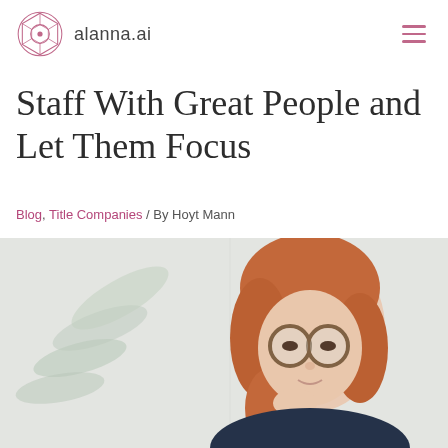alanna.ai
Staff With Great People and Let Them Focus
Blog, Title Companies / By Hoyt Mann
[Figure (photo): Professional woman with red curly hair wearing round tortoiseshell glasses, looking thoughtful with hand near chin, blurred office/plant background]